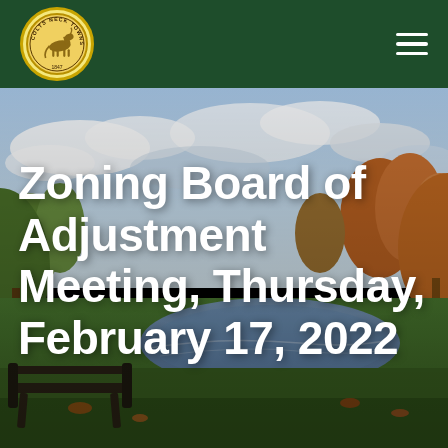[Figure (logo): Colts Neck Township seal/logo: circular gold badge with a horse silhouette and text 'COLTS NECK TOWNSHIP' around the edge, on a dark green header bar with a hamburger menu icon on the right]
[Figure (photo): Autumn outdoor scene showing a pond or lake with green grass, colorful fall trees (orange, red, yellow foliage), a partly cloudy sky, and a dark wooden bench in the foreground. The scene has warm fall colors.]
Zoning Board of Adjustment Meeting, Thursday, February 17, 2022